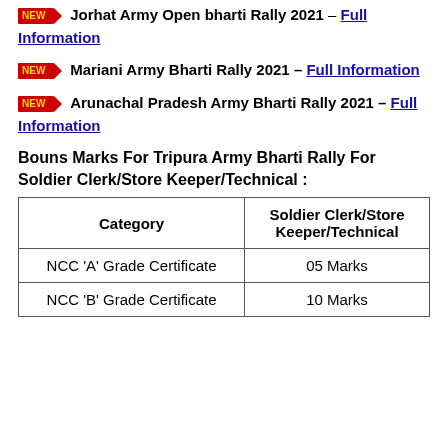Jorhat Army Open bharti Rally 2021 – Full Information
Mariani Army Bharti Rally 2021 – Full Information
Arunachal Pradesh Army Bharti Rally 2021 – Full Information
Bouns Marks For Tripura Army Bharti Rally For Soldier Clerk/Store Keeper/Technical :
| Category | Soldier Clerk/Store Keeper/Technical |
| --- | --- |
| NCC 'A' Grade Certificate | 05 Marks |
| NCC 'B' Grade Certificate | 10 Marks |